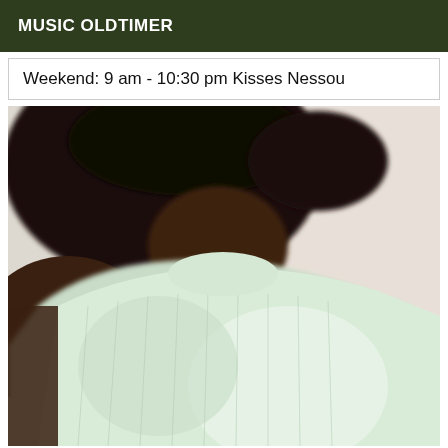MUSIC OLDTIMER
Weekend: 9 am - 10:30 pm Kisses Nessou
[Figure (photo): A person wearing a light mint/white ribbed short-sleeve top, photographed from neck/chin down showing torso area. Background includes a light wall. Photo is somewhat blurry/low quality.]